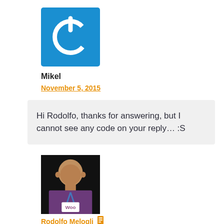[Figure (logo): Blue square logo with white power button icon]
Mikel
November 5, 2015
Hi Rodolfo, thanks for answering, but I cannot see any code on your reply… :S
[Figure (photo): Photo of Rodolfo Melogli, a bald man wearing a purple shirt with a WooCommerce badge/lanyard]
Rodolfo Melogli
November 5, 2015